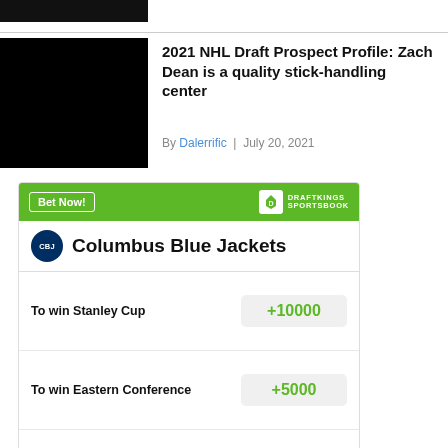[Figure (photo): Black header bar / thumbnail image placeholder]
2021 NHL Draft Prospect Profile: Zach Dean is a quality stick-handling center
By Dalerrific | July 20, 2021
| Bet | Odds |
| --- | --- |
| To win Stanley Cup | +10000 |
| To win Eastern Conference | +5000 |
| To win Metropolitan | +5000 |
Odds/Lines subject to change. See draftkings.com for details.